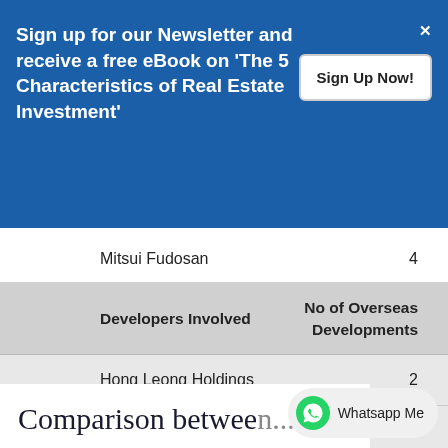Sign up for our Newsletter and receive a free eBook on 'The 5 Characteristics of Real Estate Investment'
| Developers Involved | No of Overseas Developments |
| --- | --- |
| Mitsui Fudosan | 4 |
| Hong Leong Holdings | 2 |
| Mitsui Fudosan | 60 |
Comparison betwe...